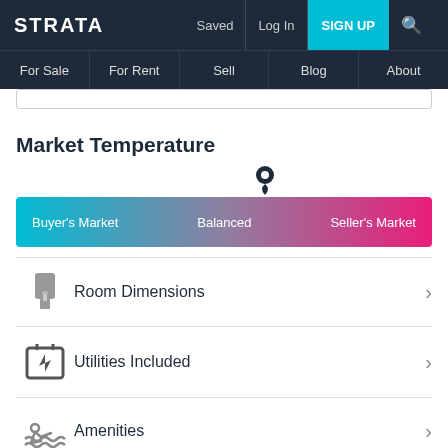STRATA   Saved   Log In   SIGN UP
For Sale   For Rent   Sell   Blog   About
Market Temperature
[Figure (infographic): Market Temperature gauge bar showing gradient from cyan (Buyer's Market) through mauve (Balanced) to pink-red (Seller's Market) with a location pin indicator positioned slightly past center toward Seller's Market.]
Room Dimensions
Utilities Included
Amenities